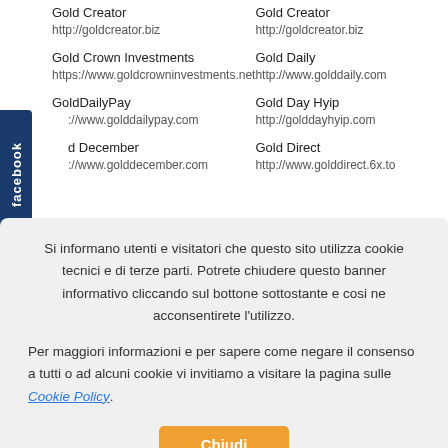Gold Creator
http://goldcreator.biz
Gold Creator
http://goldcreator.biz
Gold Crown Investments
https://www.goldcrowninvestments.net
Gold Daily
http://www.golddaily.com
GoldDailyPay
http://www.golddailypay.com
Gold Day Hyip
http://golddayhyip.com
Gold December
http://www.golddecember.com
Gold Direct
http://www.golddirect.6x.to
Si informano utenti e visitatori che questo sito utilizza cookie tecnici e di terze parti. Potrete chiudere questo banner informativo cliccando sul bottone sottostante e cosi ne acconsentirete l'utilizzo.
Per maggiori informazioni e per sapere come negare il consenso a tutti o ad alcuni cookie vi invitiamo a visitare la pagina sulle Cookie Policy.